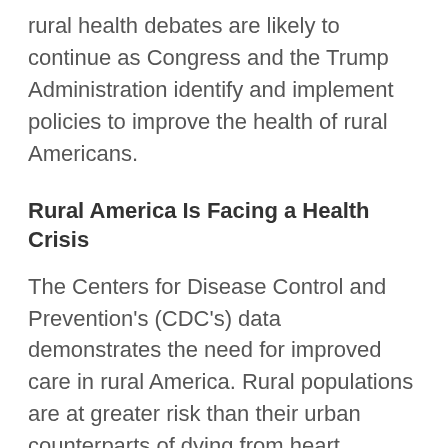rural health debates are likely to continue as Congress and the Trump Administration identify and implement policies to improve the health of rural Americans.
Rural America Is Facing a Health Crisis
The Centers for Disease Control and Prevention's (CDC's) data demonstrates the need for improved care in rural America. Rural populations are at greater risk than their urban counterparts of dying from heart disease, cancer, chronic respiratory disease, stroke, and unintentional injuries. Meanwhile, rates of death by drug overdose have continued to rise in rural America, surpassing rates in urban communities. All of these issues are underscored by a growing rural hospital crisis: Half of all hospitals are rural, and